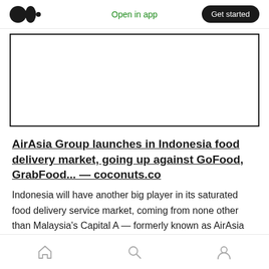Open in app  Get started
[Figure (other): Blank white image placeholder box with black border]
AirAsia Group launches in Indonesia food delivery market, going up against GoFood, GrabFood... — coconuts.co
Indonesia will have another big player in its saturated food delivery service market, coming from none other than Malaysia's Capital A — formerly known as AirAsia Group.
Home  Search  Profile